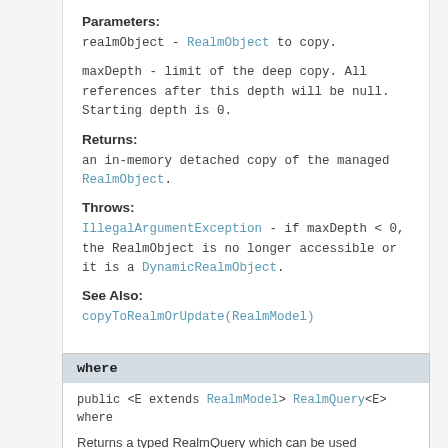Parameters:
realmObject - RealmObject to copy.
maxDepth - limit of the deep copy. All references after this depth will be null. Starting depth is 0.
Returns:
an in-memory detached copy of the managed RealmObject.
Throws:
IllegalArgumentException - if maxDepth < 0, the RealmObject is no longer accessible or it is a DynamicRealmObject.
See Also:
copyToRealmOrUpdate(RealmModel)
where
public <E extends RealmModel> RealmQuery<E> where
Returns a typed RealmQuery which can be used